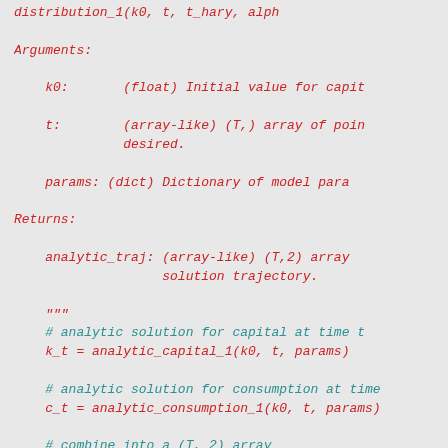distribution_1(k0, t, t_hary, alpha, ...)

Arguments:

    k0:       (float) Initial value for capital

    t:        (array-like) (T,) array of points at which solution is desired.

    params:   (dict) Dictionary of model parameters

Returns:

    analytic_traj: (array-like) (T,2) array containing the analytic solution trajectory.

    """
    # analytic solution for capital at time t
    k_t = analytic_capital_1(k0, t, params)

    # analytic solution for consumption at time t
    c_t = analytic_consumption_1(k0, t, params)

    # combine into a (T, 2) array
    tup = (t[:,np.newaxis], k_t[:,np.newaxis],
    analytic_traj = np.hstack(tup)